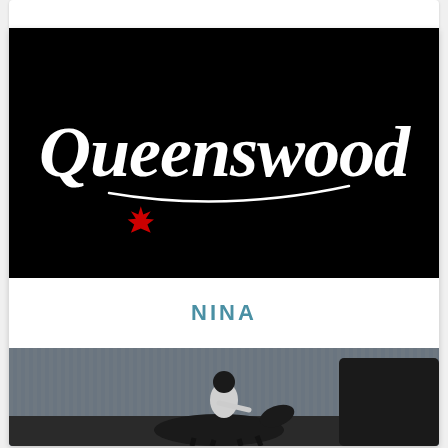[Figure (logo): Queenswood logo: white cursive/script text 'Queenswood' with a decorative underline swash and a red maple leaf below, on a black background]
NINA
[Figure (photo): Photo of a person wearing a helmet riding a horse in an arena or stable setting, dark background with some structural elements visible]